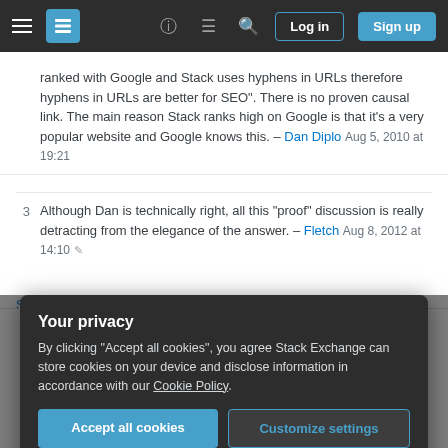Stack Exchange navigation bar with hamburger menu, logo, help, chat, search icons, Log in and Sign up buttons
ranked with Google and Stack uses hyphens in URLs therefore hyphens in URLs are better for SEO". There is no proven causal link. The main reason Stack ranks high on Google is that it's a very popular website and Google knows this. – Dan Diplo Aug 5, 2010 at 19:21
Although Dan is technically right, all this "proof" discussion is really detracting from the elegance of the answer. – Fletch Aug 8, 2012 at 14:10
Show 6 more comments
This article by Jeff Atwood always clinched it for me:
Your privacy
By clicking "Accept all cookies", you agree Stack Exchange can store cookies on your device and disclose information in accordance with our Cookie Policy.
Accept all cookies
Customize settings
... though this no longer seems to hold in the case of